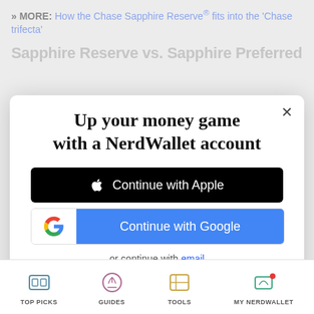» MORE: How the Chase Sapphire Reserve® fits into the 'Chase trifecta'
Sapphire Reserve vs. Sapphire Preferred
Up your money game with a NerdWallet account
[Figure (screenshot): Continue with Apple button — black button with Apple logo and text 'Continue with Apple' in white]
[Figure (screenshot): Continue with Google button — white panel with Google 'G' logo on left and blue panel with text 'Continue with Google' in white on right]
or continue with email
By signing up, I agree to NerdWallet's Terms of Service and Privacy Policy.
TOP PICKS   GUIDES   TOOLS   MY NERDWALLET